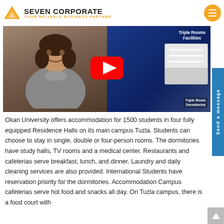[Figure (logo): Seven Corporate logo with orange triangle icon and tagline YOUR RELIABLE BUSINESS PARTNER]
[Figure (screenshot): YouTube video thumbnail showing a woman speaking on left side and Triple Rooms Facilities text on right blue side with a fridge image and Triple Room Dormitories label at bottom right. Red YouTube play button in center.]
Okan University offers accommodation for 1500 students in four fully equipped Residence Halls on its main campus Tuzla. Students can choose to stay in single, double or four-person rooms. The dormitories have study halls, TV rooms and a medical center. Restaurants and cafeterias serve breakfast, lunch, and dinner. Laundry and daily cleaning services are also provided. International Students have reservation priority for the dormitories. Accommodation Campus cafeterias serve hot food and snacks all day. On Tuzla campus, there is a food court with